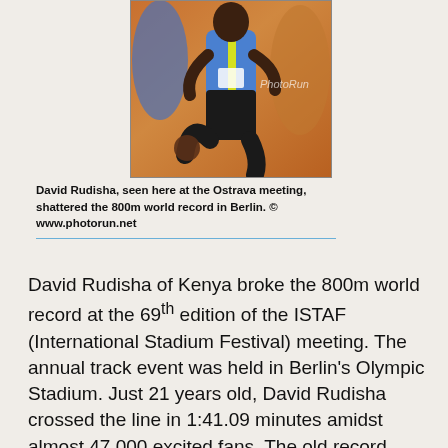[Figure (photo): Runner in blue and yellow athletic gear sprinting, photographed at the Ostrava meeting. Watermark reads PhotoRun.]
David Rudisha, seen here at the Ostrava meeting, shattered the 800m world record in Berlin. © www.photorun.net
David Rudisha of Kenya broke the 800m world record at the 69th edition of the ISTAF (International Stadium Festival) meeting. The annual track event was held in Berlin's Olympic Stadium. Just 21 years old, David Rudisha crossed the line in 1:41.09 minutes amidst almost 47,000 excited fans. The old record, 1:41.11, was set 13 years ago by Denmark's Wilson Kipketer in Cologne, Germany. “I knew that today would be my day. I’ve trained very hard for